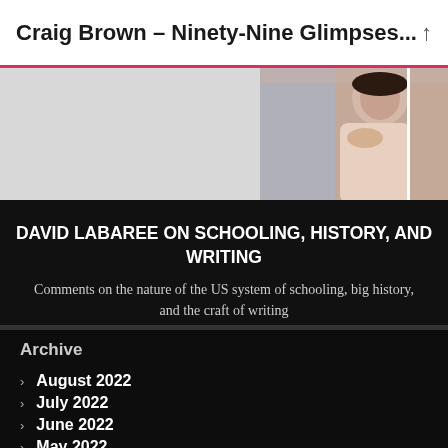Craig Brown – Ninety-Nine Glimpses...
[Figure (photo): Partial view of a person resting their chin on their hand, alongside a gray area background on the left.]
DAVID LABAREE ON SCHOOLING, HISTORY, AND WRITING
Comments on the nature of the US system of schooling, big history, and the craft of writing
Archive
August 2022
July 2022
June 2022
May 2022
April 2022
March 2022